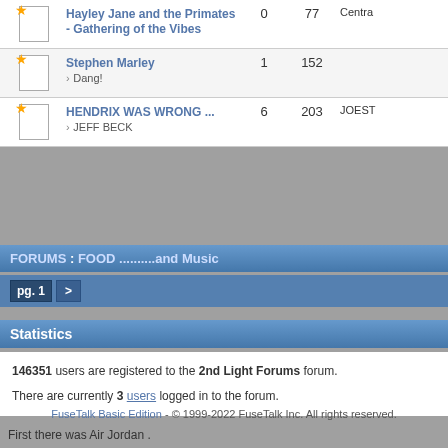| Icon | Title | Replies | Views | Last Post |
| --- | --- | --- | --- | --- |
| [icon] | Hayley Jane and the Primates - Gathering of the Vibes | 0 | 77 | Centra... |
| [icon] | Stephen Marley
> Dang! | 1 | 152 |  |
| [icon] | HENDRIX WAS WRONG ...
> JEFF BECK | 6 | 203 | JOEST... |
FORUMS : FOOD ..........and Music
pg. 1 >
Statistics
146351 users are registered to the 2nd Light Forums forum.
There are currently 3 users logged in to the forum.
FuseTalk Basic Edition - © 1999-2022 FuseTalk Inc. All rights reserved.
First there was Air Jordan .